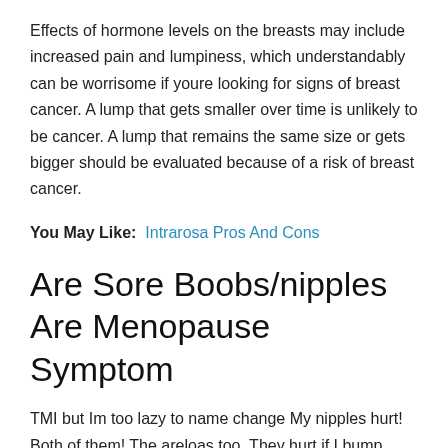Effects of hormone levels on the breasts may include increased pain and lumpiness, which understandably can be worrisome if youre looking for signs of breast cancer. A lump that gets smaller over time is unlikely to be cancer. A lump that remains the same size or gets bigger should be evaluated because of a risk of breast cancer.
You May Like: Intrarosa Pros And Cons
Are Sore Boobs/nipples Are Menopause Symptom
TMI but Im too lazy to name change My nipples hurt! Both of them! The areloas too. They hurt if I bump them, but I can sort of feel them all the time, its a bit of a hot ache. Im mid/late cycle nowI cant feel any obvious lumps but then It